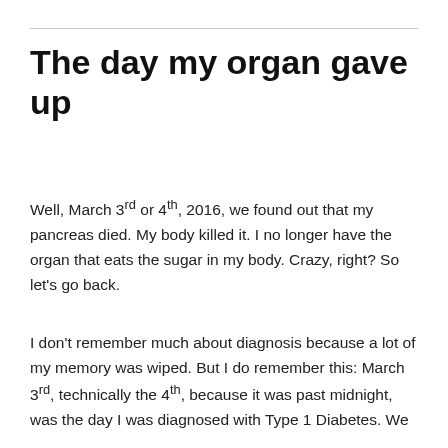The day my organ gave up
Well, March 3rd or 4th, 2016, we found out that my pancreas died. My body killed it. I no longer have the organ that eats the sugar in my body. Crazy, right? So let's go back.
I don't remember much about diagnosis because a lot of my memory was wiped. But I do remember this: March 3rd, technically the 4th, because it was past midnight, was the day I was diagnosed with Type 1 Diabetes. We